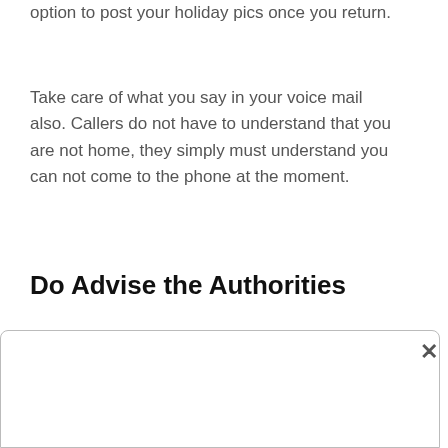option to post your holiday pics once you return.
Take care of what you say in your voice mail also. Callers do not have to understand that you are not home, they simply must understand you can not come to the phone at the moment.
Do Advise the Authorities
Think about notifying the authorities if you are going on holiday. It's not necessary to allow the cops to know